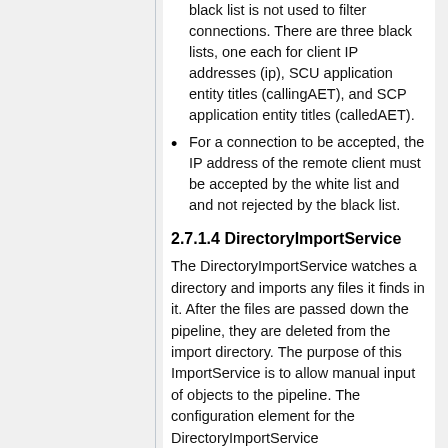black list is not used to filter connections. There are three black lists, one each for client IP addresses (ip), SCU application entity titles (callingAET), and SCP application entity titles (calledAET).
For a connection to be accepted, the IP address of the remote client must be accepted by the white list and and not rejected by the black list.
2.7.1.4 DirectoryImportService
The DirectoryImportService watches a directory and imports any files it finds in it. After the files are passed down the pipeline, they are deleted from the import directory. The purpose of this ImportService is to allow manual input of objects to the pipeline. The configuration element for the DirectoryImportService